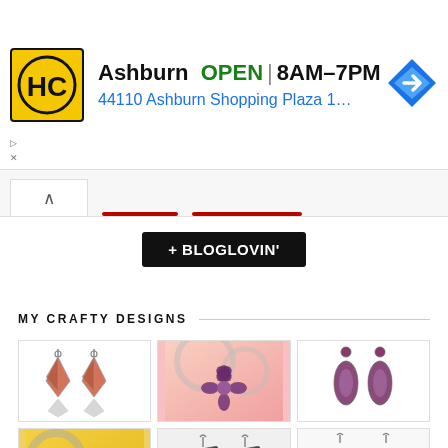[Figure (other): Advertisement banner for HC (Home Depot style) store in Ashburn: logo with HC in yellow circle, text 'Ashburn OPEN | 8AM-7PM', address '44110 Ashburn Shopping Plaza 190, A.', navigation arrow icon]
+ BLOGLOVIN'
MY CRAFTY DESIGNS
[Figure (photo): Handmade coral/orange kite-shaped dangle earrings on white background]
[Figure (photo): Purple floral snowflake-shaped earrings on pink background]
[Figure (photo): Purple teardrop dangle earrings on white background]
[Figure (photo): Round black and tan woven/basket weave hoop earrings on yellow background]
[Figure (photo): Brown/red glittery square dangle earrings on white background]
[Figure (photo): Blue paw print shaped earrings on white background]
[Figure (photo): Partial view of earrings, bottom row cut off]
[Figure (photo): Partial view of earrings, bottom row cut off]
[Figure (photo): Partial view of earrings, bottom row cut off]